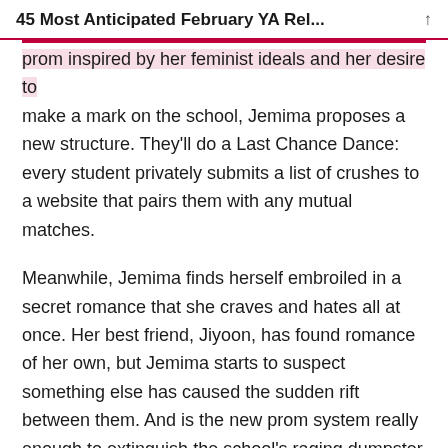45 Most Anticipated February YA Rel...
prom inspired by her feminist ideals and her desire to make a mark on the school, Jemima proposes a new structure. They'll do a Last Chance Dance: every student privately submits a list of crushes to a website that pairs them with any mutual matches.
Meanwhile, Jemima finds herself embroiled in a secret romance that she craves and hates all at once. Her best friend, Jiyoon, has found romance of her own, but Jemima starts to suspect something else has caused the sudden rift between them. And is the new prom system really enough to extinguish the school's raging dumpster fire of toxic masculinity?